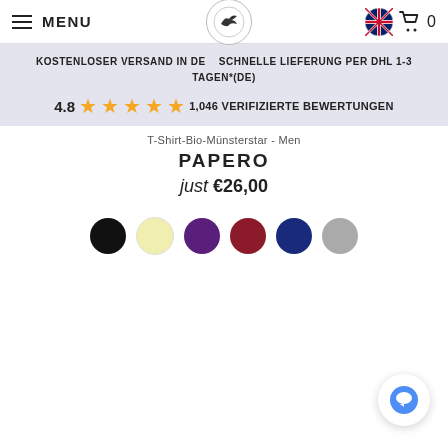MENU | [logo] | [flag] [cart] 0
KOSTENLOSER VERSAND IN DE   SCHNELLE LIEFERUNG PER DHL 1-3 TAGEN*(DE)
4.8 ★★★★½ 1,046 VERIFIZIERTE BEWERTUNGEN
T-Shirt-Bio-Münsterstar - Men
PAPERO
just €26,00
[Figure (illustration): Color swatches: black, cream/yellow, purple, dark red, navy blue, gray]